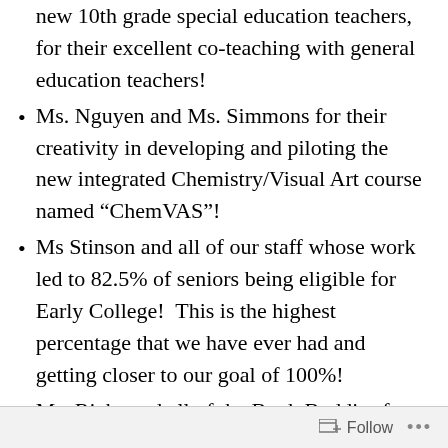new 10th grade special education teachers, for their excellent co-teaching with general education teachers!
Ms. Nguyen and Ms. Simmons for their creativity in developing and piloting the new integrated Chemistry/Visual Art course named “ChemVAS”!
Ms Stinson and all of our staff whose work led to 82.5% of seniors being eligible for Early College!  This is the highest percentage that we have ever had and getting closer to our goal of 100%!
Ms. Ricks and all of the Book Buddies for organizing the Summer Reading Celebration on Friday!
Follow ...